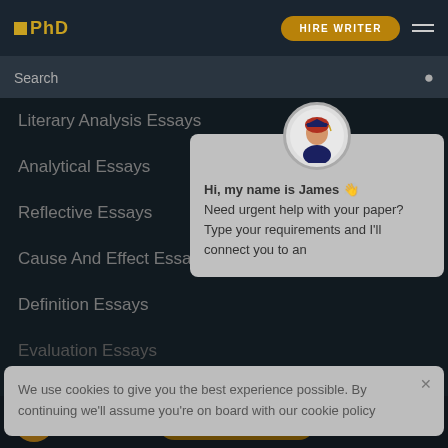EPhD | HIRE WRITER
Search
Literary Analysis Essays
Analytical Essays
Reflective Essays
Cause And Effect Essays
Definition Essays
Evaluation Essays
Hi, my name is James 👋 Need urgent help with your paper? Type your requirements and I'll connect you to an
We use cookies to give you the best experience possible. By continuing we'll assume you're on board with our cookie policy
HIRE WRITER